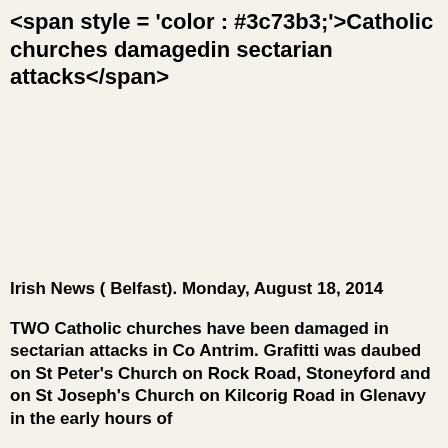<span style = 'color : #3c73b3;'>Catholic churches damagedin sectarian attacks</span>
Irish News ( Belfast). Monday, August 18, 2014
TWO Catholic churches have been damaged in sectarian attacks in Co Antrim. Grafitti was daubed on St Peter's Church on Rock Road, Stoneyford and on St Joseph's Church on Kilcorig Road in Glenavy in the early hours of